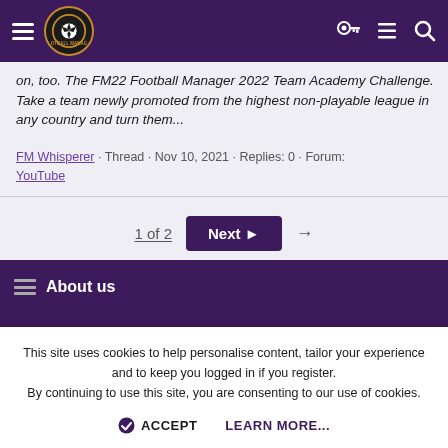Football Manager Community — navigation bar with logo, hamburger menu, key icon, list icon, search icon
...on, too. The FM22 Football Manager 2022 Team Academy Challenge. Take a team newly promoted from the highest non-playable league in any country and turn them...
FM Whisperer · Thread · Nov 10, 2021 · Replies: 0 · Forum: YouTube
1 of 2
Next ▸
Tags
About us
This site uses cookies to help personalise content, tailor your experience and to keep you logged in if you register.
By continuing to use this site, you are consenting to our use of cookies.
ACCEPT
LEARN MORE...